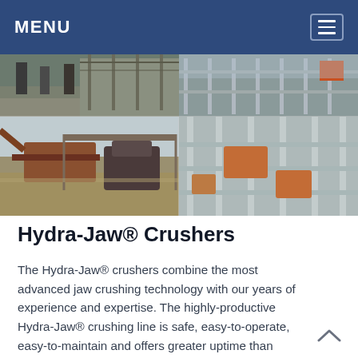MENU
[Figure (photo): Four-panel photo collage showing industrial crushing and mining equipment: top-left shows workers at a construction/demolition site, top-right shows a large industrial facility with steel framework, bottom-left shows a jaw crusher machine in an outdoor field setting, bottom-right shows a multi-level industrial steel structure with orange machinery.]
Hydra-Jaw® Crushers
The Hydra-Jaw® crushers combine the most advanced jaw crushing technology with our years of experience and expertise. The highly-productive Hydra-Jaw® crushing line is safe, easy-to-operate, easy-to-maintain and offers greater uptime than competitive models. 3:48.